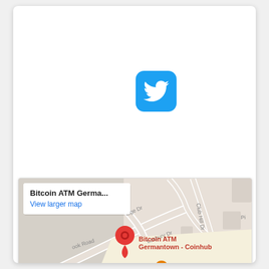[Figure (logo): Twitter bird logo icon on blue rounded square background]
[Figure (map): Google Maps screenshot showing Bitcoin ATM Germantown - Coinhub location marker with a popup reading 'Bitcoin ATM Germa...' and 'View larger map', street labels including Club Hill Dr, Locbury Dr, ook Road, and a McDonald's marker nearby]